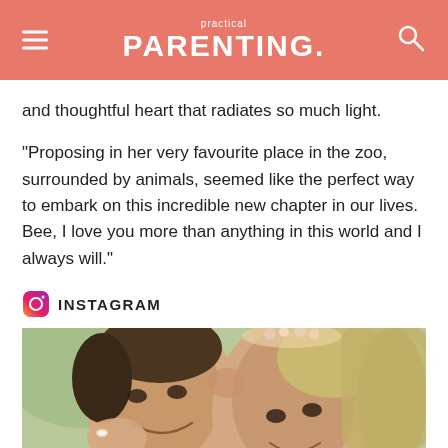practical PARENTING.
and thoughtful heart that radiates so much light.
"Proposing in her very favourite place in the zoo, surrounded by animals, seemed like the perfect way to embark on this incredible new chapter in our lives. Bee, I love you more than anything in this world and I always will."
INSTAGRAM
[Figure (photo): A couple smiling and leaning their foreheads together. The woman on the right has long blonde hair and a flower crown; the man on the left is smiling broadly. An engagement ring is visible on the woman's hand touching the man's cheek.]